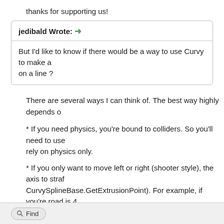thanks for supporting us!
jedibald Wrote: ➜ But I'd like to know if there would be a way to use Curvy to make a on a line ?
There are several ways I can think of. The best way highly depends o
* If you need physics, you're bound to colliders. So you'll need to use rely on physics only.
* If you only want to move left or right (shooter style), the axis to straf CurvySplineBase.GetExtrusionPoint). For example, if you're road is 4 of your road (angle of 270 or better "currentPos-Rightmost" gives you rightmost position.
Hope that helps
Jake